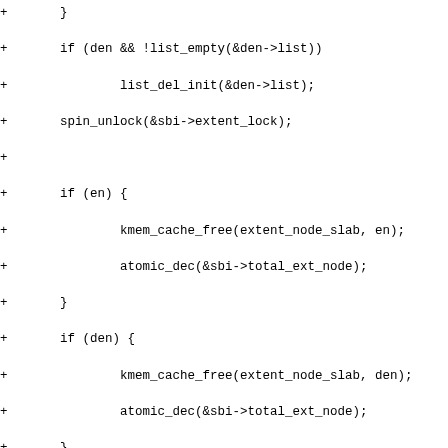Code diff showing f2fs extent tree functions including list deletion, spin unlock, kmem_cache_free, atomic_dec calls and f2fs_shrink_extent_tree function declaration with local variable declarations and available_free_memory check.